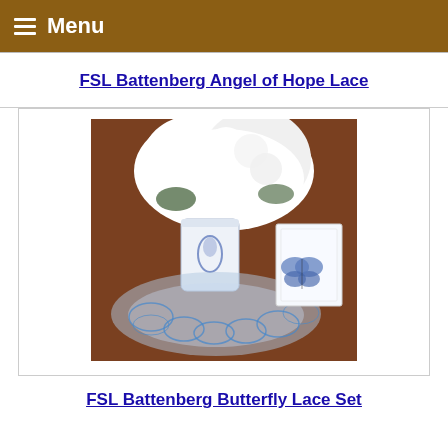Menu
FSL Battenberg Angel of Hope Lace
[Figure (photo): Photo of a blue lace doily with butterfly designs on a wooden table, a white and blue vase with white hydrangea flowers, and a greeting card with a blue butterfly lace embroidery on the front.]
FSL Battenberg Butterfly Lace Set